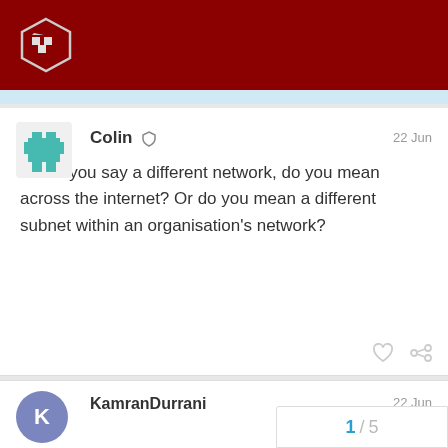Forum header with logo
Colin 22 Jun
When you say a different network, do you mean across the internet? Or do you mean a different subnet within an organisation's network?
KamranDurrani 22 Jun
Across the internet
1 / 5